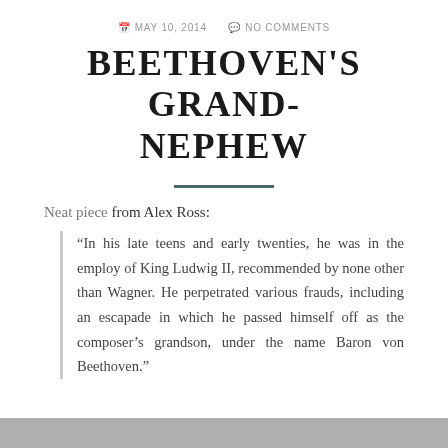MAY 10, 2014   NO COMMENTS
BEETHOVEN'S GRAND-NEPHEW
Neat piece from Alex Ross:
“In his late teens and early twenties, he was in the employ of King Ludwig II, recommended by none other than Wagner. He perpetrated various frauds, including an escapade in which he passed himself off as the composer’s grandson, under the name Baron von Beethoven.”